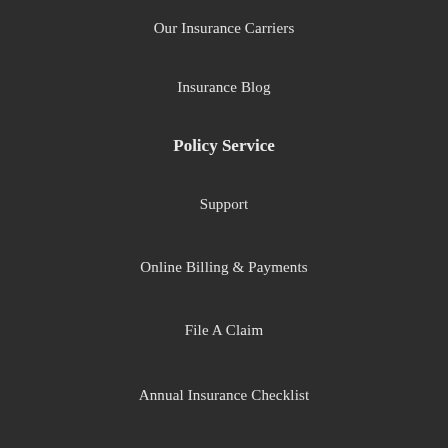Our Insurance Carriers
Insurance Blog
Policy Service
Support
Online Billing & Payments
File A Claim
Annual Insurance Checklist